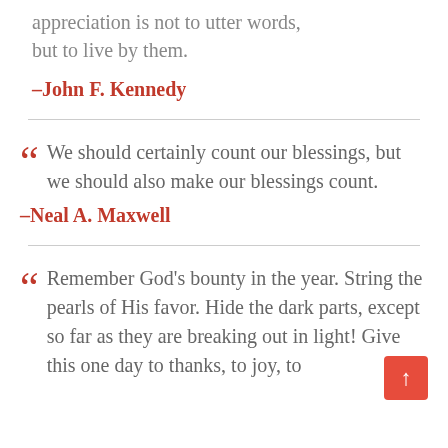appreciation is not to utter words, but to live by them.
–John F. Kennedy
We should certainly count our blessings, but we should also make our blessings count.
–Neal A. Maxwell
Remember God's bounty in the year. String the pearls of His favor. Hide the dark parts, except so far as they are breaking out in light! Give this one day to thanks, to joy, to
[Figure (other): Red scroll-to-top button with upward arrow]